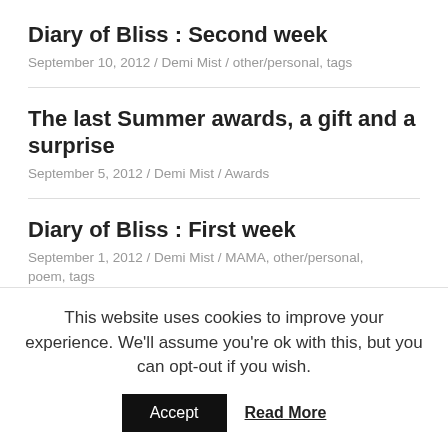Diary of Bliss : Second week
September 10, 2012 / Demi Mist / other/personal, tags
The last Summer awards, a gift and a surprise
September 5, 2012 / Demi Mist / Awards
Diary of Bliss : First week
September 1, 2012 / Demi Mist / MAMA, other/personal, poem, tags
This website uses cookies to improve your experience. We'll assume you're ok with this, but you can opt-out if you wish.